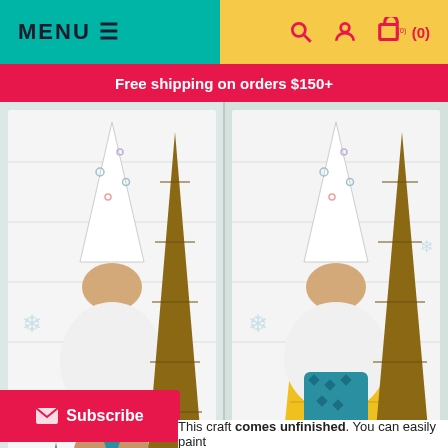MENU ≡  [search] [user] [cart] (0)
Free shipping on orders $150+
[Figure (photo): Two decorated wooden gnome figurines with snowflake hats, teal mittens, and felt ball garlands on wooden slab backdrop with miniature Christmas trees. Left is boy gnome, right is girl gnome with yellow accents.]
[Figure (photo): Thumbnail 1: Boy and girl gnomes together with Christmas trees]
[Figure (photo): Thumbnail 2: Single gnome with Christmas trees]
[Figure (photo): Thumbnail 3: Boy Gnome and Girl Gnome label cards comparison]
[Figure (photo): Thumbnail 4: Boy Kit - unfinished wooden gnome parts]
Click thumbnails to enlarge
Subscribe
This craft comes unfinished. You can easily paint